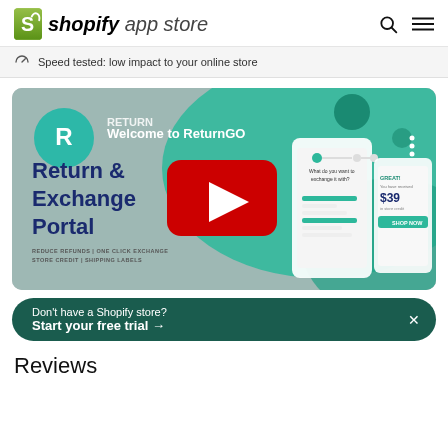shopify app store
Speed tested: low impact to your online store
[Figure (screenshot): YouTube-style video thumbnail for ReturnGO showing 'Welcome to ReturnGO' title, 'Return & Exchange Portal' text, REDUCE REFUNDS | ONE CLICK EXCHANGE STORE CREDIT | SHIPPING LABELS tagline, and a red play button in the center. Background shows teal/green design with UI mockups.]
Don't have a Shopify store? Start your free trial →
Reviews